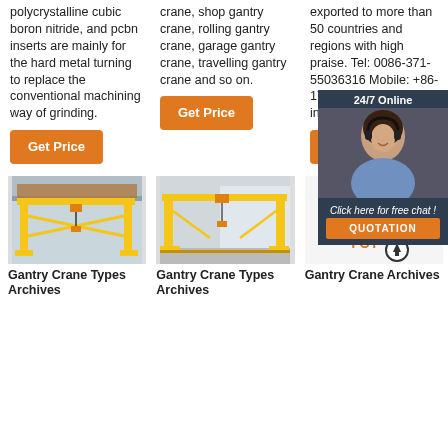polycrystalline cubic boron nitride, and pcbn inserts are mainly for the hard metal turning to replace the conventional machining way of grinding.
crane, shop gantry crane, rolling gantry crane, garage gantry crane, travelling gantry crane and so on.
exported to more than 50 countries and regions with high praise. Tel: 0086-371-55036316 Mobile: +86-177 5252 33... Email: inquiry1...
[Figure (screenshot): Orange Get Price button in column 1]
[Figure (screenshot): Orange Get Price button in column 2]
[Figure (screenshot): Orange Get Price button in column 3 (partially hidden by overlay)]
[Figure (photo): Yellow gantry crane inside industrial warehouse, left column]
[Figure (photo): Yellow gantry crane outside in industrial yard, center column]
[Figure (illustration): Orange/brown gantry crane schematic diagram, right column with TOP arrow icon]
[Figure (photo): 24/7 Online chat widget overlay with woman in headset, Click here for free chat, QUOTATION button]
Gantry Crane Types Archives
Gantry Crane Types Archives
Gantry Crane Archives